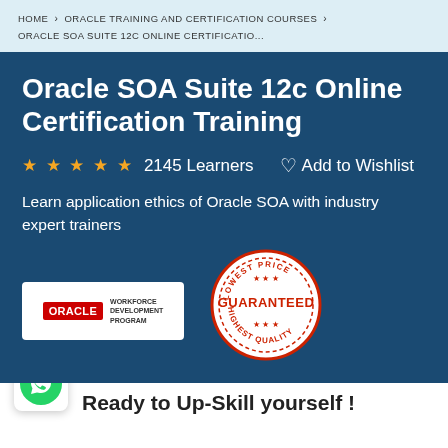HOME > ORACLE TRAINING AND CERTIFICATION COURSES > ORACLE SOA SUITE 12C ONLINE CERTIFICATIO...
Oracle SOA Suite 12c Online Certification Training
★★★★★ 2145 Learners  ♡ Add to Wishlist
Learn application ethics of Oracle SOA with industry expert trainers
[Figure (logo): Oracle Workforce Development Program logo on white background]
[Figure (illustration): Lowest Price Guaranteed Highest Quality circular badge/stamp in red and white]
[Figure (logo): WhatsApp green circular icon on white rounded square button]
Ready to Up-Skill yourself !